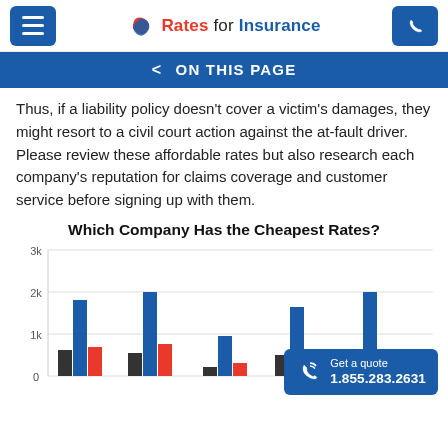Rates for Insurance
< ON THIS PAGE
Thus, if a liability policy doesn't cover a victim's damages, they might resort to a civil court action against the at-fault driver. Please review these affordable rates but also research each company's reputation for claims coverage and customer service before signing up with them.
Which Company Has the Cheapest Rates?
[Figure (grouped-bar-chart): Which Company Has the Cheapest Rates?]